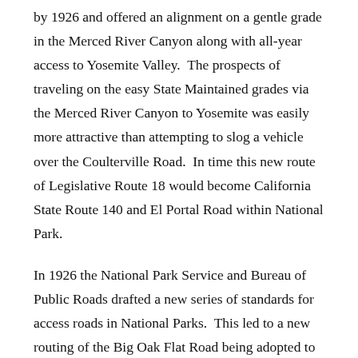by 1926 and offered an alignment on a gentle grade in the Merced River Canyon along with all-year access to Yosemite Valley.  The prospects of traveling on the easy State Maintained grades via the Merced River Canyon to Yosemite was easily more attractive than attempting to slog a vehicle over the Coulterville Road.  In time this new route of Legislative Route 18 would become California State Route 140 and El Portal Road within National Park.
In 1926 the National Park Service and Bureau of Public Roads drafted a new series of standards for access roads in National Parks.  This led to a new routing of the Big Oak Flat Road being adopted to the south of the original route from Crane Flat to Yosemite Valley.  The new alignment of Big Oak Flat Road was to be an all-year highway which grades much more gentle than the original alignment which had 45% from going to Yosemite Valley from Crane Flat to